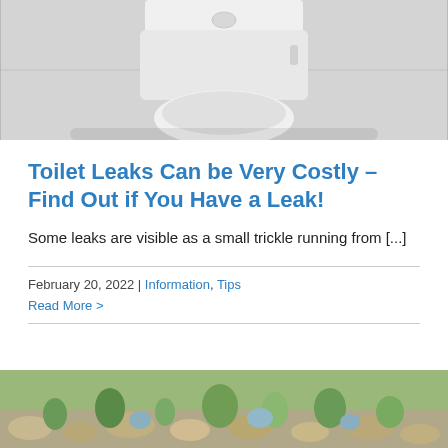[Figure (photo): Photo of a white toilet bowl from above, on gray tile floor]
Toilet Leaks Can be Very Costly – Find Out if You Have a Leak!
Some leaks are visible as a small trickle running from [...]
February 20, 2022 | Information, Tips
Read More >
[Figure (photo): Photo of a rock garden with various plants and succulents]